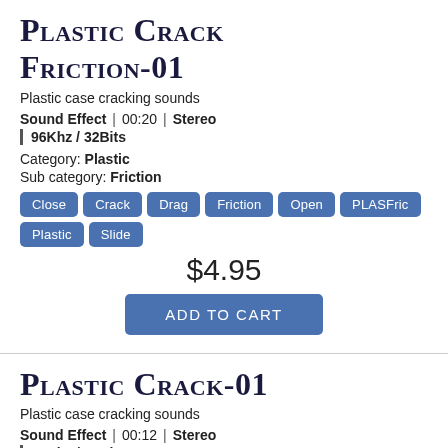Plastic Crack Friction-01
Plastic case cracking sounds
Sound Effect | 00:20 | Stereo | 96Khz / 32Bits
Category: Plastic
Sub category: Friction
Close
Crack
Drag
Friction
Open
PLASFric
Plastic
Slide
$4.95
ADD TO CART
Plastic Crack-01
Plastic case cracking sounds
Sound Effect | 00:12 | Stereo | 96Khz / 32Bits
Category: Plastic
Sub category: Friction
Close
Crack
Drag
Friction
Open